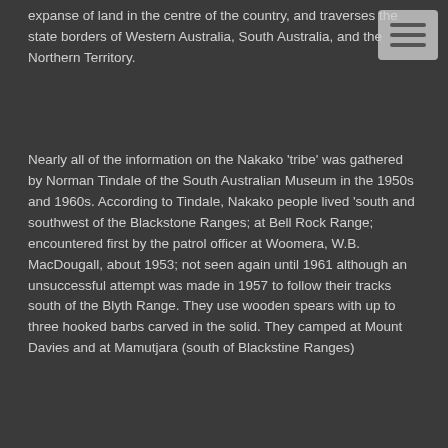expanse of land in the centre of the country, and traverses the state borders of Western Australia, South Australia, and the Northern Territory.
[Figure (other): Hamburger menu icon button (three horizontal lines on a grey rounded rectangle background)]
Nearly all of the information on the Nakako 'tribe' was gathered by Norman Tindale of the South Australian Museum in the 1950s and 1960s. According to Tindale, Nakako people lived 'south and southwest of the Blackstone Ranges; at Bell Rock Range; encountered first by the patrol officer at Woomera, W.B. MacDougall, about 1953; not seen again until 1961 although an unsuccessful attempt was made in 1957 to follow their tracks south of the Blyth Range. They use wooden spears with up to three hooked barbs carved in the solid. They camped at Mount Davies and at Mamutjara (south of Blackstine Ranges)